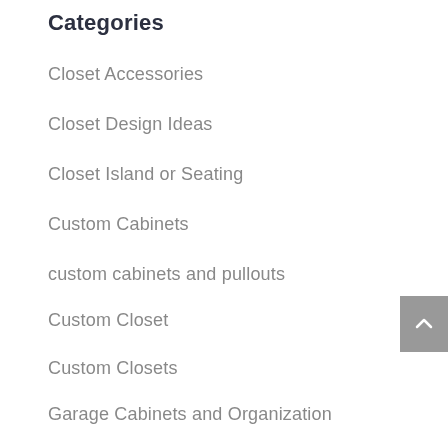Categories
Closet Accessories
Closet Design Ideas
Closet Island or Seating
Custom Cabinets
custom cabinets and pullouts
Custom Closet
Custom Closets
Garage Cabinets and Organization
Home Entertainment Centers